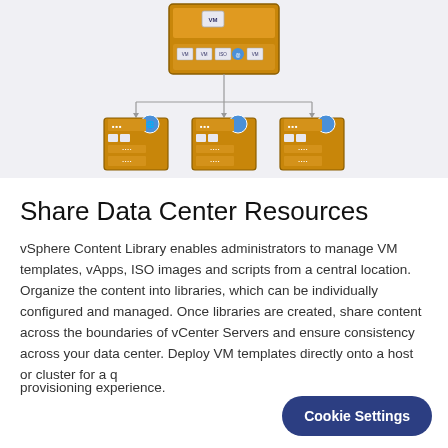[Figure (network-graph): A diagram showing a central VMware server/host connected via lines to three smaller vCenter server icons below it, illustrating content library sharing across data center resources.]
Share Data Center Resources
vSphere Content Library enables administrators to manage VM templates, vApps, ISO images and scripts from a central location. Organize the content into libraries, which can be individually configured and managed. Once libraries are created, share content across the boundaries of vCenter Servers and ensure consistency across your data center. Deploy VM templates directly onto a host or cluster for a quicker provisioning experience.